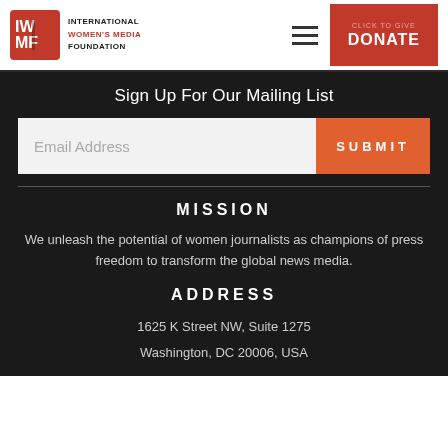[Figure (logo): IWMF logo - red square with white IWM/F letters and text 'INTERNATIONAL WOMEN'S MEDIA FOUNDATION']
Sign Up For Our Mailing List
Email Address
SUBMIT
MISSION
We unleash the potential of women journalists as champions of press freedom to transform the global news media.
ADDRESS
1625 K Street NW, Suite 1275
Washington, DC 20006, USA